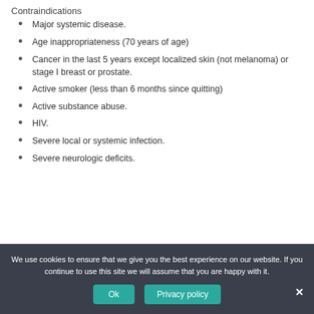Contraindications
Major systemic disease.
Age inappropriateness (70 years of age)
Cancer in the last 5 years except localized skin (not melanoma) or stage I breast or prostate.
Active smoker (less than 6 months since quitting)
Active substance abuse.
HIV.
Severe local or systemic infection.
Severe neurologic deficits.
We use cookies to ensure that we give you the best experience on our website. If you continue to use this site we will assume that you are happy with it.
Ok | Privacy policy